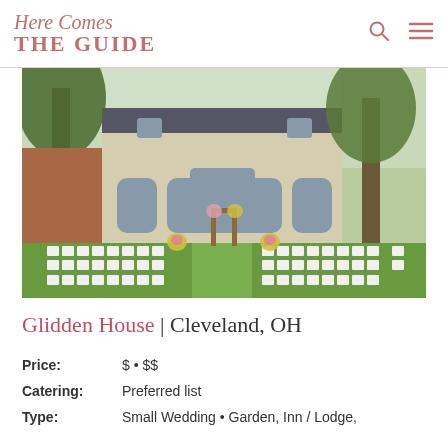Here Comes THE GUIDE
[Figure (photo): Outdoor wedding ceremony setup at Glidden House with white chairs arranged in rows on a lawn, a wooden floral arch in the center, and a grand historic stone building in the background surrounded by large trees.]
Glidden House | Cleveland, OH
Price: $ • $$
Catering: Preferred list
Type: Small Wedding • Garden, Inn / Lodge,